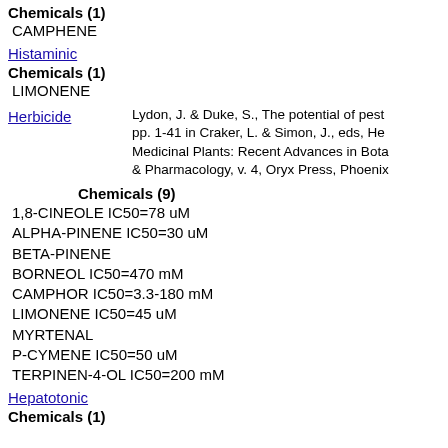Chemicals (1)
CAMPHENE
Histaminic
Chemicals (1)
LIMONENE
Herbicide
Lydon, J. & Duke, S., The potential of pest pp. 1-41 in Craker, L. & Simon, J., eds, He Medicinal Plants: Recent Advances in Bota & Pharmacology, v. 4, Oryx Press, Phoenix
Chemicals (9)
1,8-CINEOLE IC50=78 uM
ALPHA-PINENE IC50=30 uM
BETA-PINENE
BORNEOL IC50=470 mM
CAMPHOR IC50=3.3-180 mM
LIMONENE IC50=45 uM
MYRTENAL
P-CYMENE IC50=50 uM
TERPINEN-4-OL IC50=200 mM
Hepatotonic
Chemicals (1)